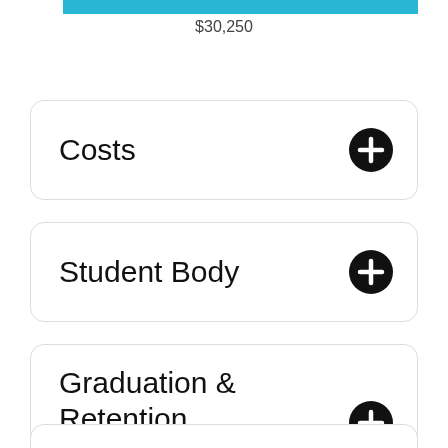[Figure (bar-chart): Partial horizontal bar chart showing value $30,250, bar filled in teal/blue color]
$30,250
Costs
Student Body
Graduation & Retention